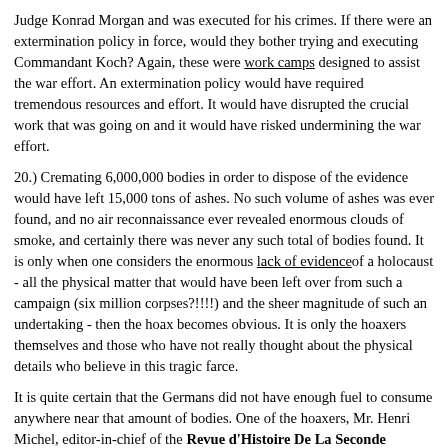Judge Konrad Morgan and was executed for his crimes. If there were an extermination policy in force, would they bother trying and executing Commandant Koch? Again, these were work camps designed to assist the war effort. An extermination policy would have required tremendous resources and effort. It would have disrupted the crucial work that was going on and it would have risked undermining the war effort.
20.) Cremating 6,000,000 bodies in order to dispose of the evidence would have left 15,000 tons of ashes. No such volume of ashes was ever found, and no air reconnaissance ever revealed enormous clouds of smoke, and certainly there was never any such total of bodies found. It is only when one considers the enormous lack of evidence of a holocaust - all the physical matter that would have been left over from such a campaign (six million corpses?!!!!) and the sheer magnitude of such an undertaking - then the hoax becomes obvious. It is only the hoaxers themselves and those who have not really thought about the physical details who believe in this tragic farce.
It is quite certain that the Germans did not have enough fuel to consume anywhere near that amount of bodies. One of the hoaxers, Mr. Henri Michel, editor-in-chief of the Revue d'Histoire De La Seconde Guerre Mondial, exclaimed of Auschwitz: "This camp was the most international and the most western of the death